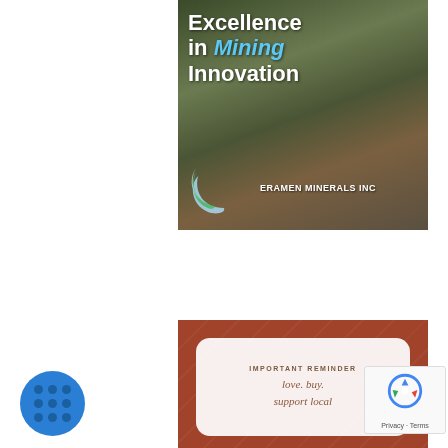[Figure (illustration): Mining site advertisement banner showing workers at a mine with text 'Excellence in Mining Innovation' and Eramen Minerals Inc logo with crescents]
[Figure (illustration): Brown/rust-colored banner with palm leaf background, containing a white rounded card with text 'IMPORTANT REMINDER' and 'love. buy. support local']
[Figure (logo): Blue circle icon with dotted grid pattern (3x3 dots)]
[Figure (other): reCAPTCHA widget showing Google reCAPTCHA logo and Privacy - Terms text]